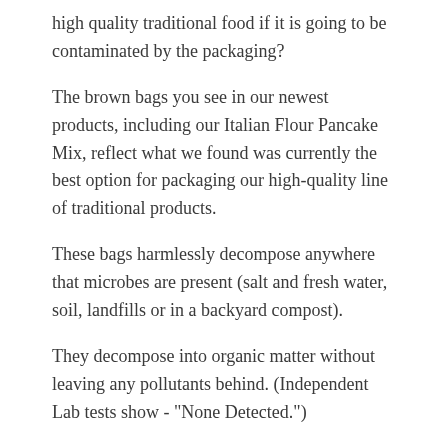high quality traditional food if it is going to be contaminated by the packaging?
The brown bags you see in our newest products, including our Italian Flour Pancake Mix, reflect what we found was currently the best option for packaging our high-quality line of traditional products.
These bags harmlessly decompose anywhere that microbes are present (salt and fresh water, soil, landfills or in a backyard compost).
They decompose into organic matter without leaving any pollutants behind. (Independent Lab tests show - "None Detected.")
They have been lab tested for possible leaching of many heavy metals and pollutants, and none were